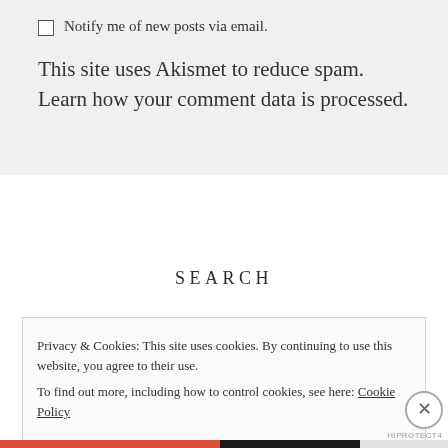Notify me of new posts via email.
This site uses Akismet to reduce spam. Learn how your comment data is processed.
SEARCH
Privacy & Cookies: This site uses cookies. By continuing to use this website, you agree to their use.
To find out more, including how to control cookies, see here: Cookie Policy
Close and accept